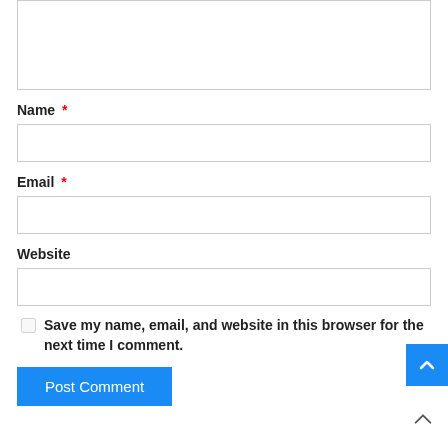[Textarea input box]
Name *
[Name input box]
Email *
[Email input box]
Website
[Website input box]
Save my name, email, and website in this browser for the next time I comment.
Post Comment